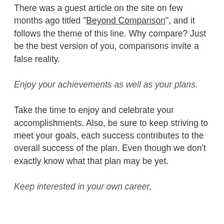There was a guest article on the site on few months ago titled "Beyond Comparison", and it follows the theme of this line. Why compare? Just be the best version of you, comparisons invite a false reality.
Enjoy your achievements as well as your plans.
Take the time to enjoy and celebrate your accomplishments. Also, be sure to keep striving to meet your goals, each success contributes to the overall success of the plan. Even though we don't exactly know what that plan may be yet.
Keep interested in your own career,